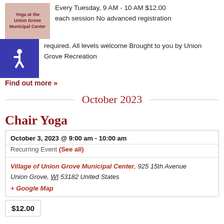[Figure (illustration): Yoga at the Union Grove Municipal Center event image with pink/tan background and bold dark red text]
Every Tuesday, 9 AM - 10 AM $12.00 each session No advanced registration required. All levels welcome Brought to you by Union Grove Recreation
Find out more »
October 2023
Chair Yoga
| October 3, 2023 @ 9:00 am - 10:00 am |
| Recurring Event (See all) |
| Village of Union Grove Municipal Center, 925 15th Avenue Union Grove, WI 53182 United States + Google Map |
$12.00